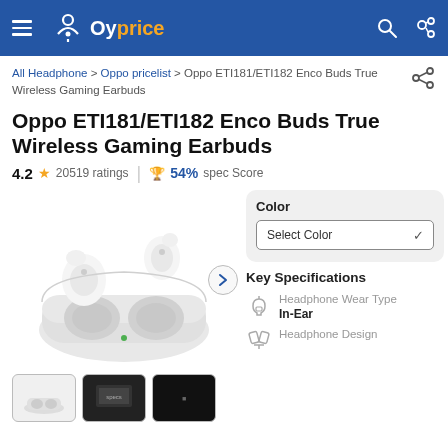Oyprice
All Headphone > Oppo pricelist > Oppo ETI181/ETI182 Enco Buds True Wireless Gaming Earbuds
Oppo ETI181/ETI182 Enco Buds True Wireless Gaming Earbuds
4.2 ★ 20519 ratings | 🏆 54% spec Score
[Figure (photo): Oppo ETI181/ETI182 Enco Buds True Wireless Gaming Earbuds product image showing white wireless earbuds in charging case]
Color
Select Color
Key Specifications
Headphone Wear Type
In-Ear
Headphone Design